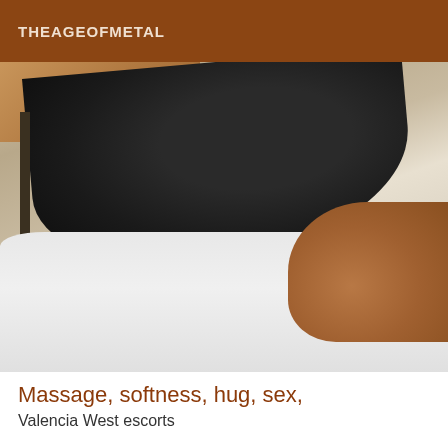THEAGEOFMETAL
[Figure (photo): Close-up photo of a person lying on a white bed/surface wearing black shorts, showing partial torso and legs with tan/brown skin]
Massage, softness, hug, sex,
Valencia West escorts